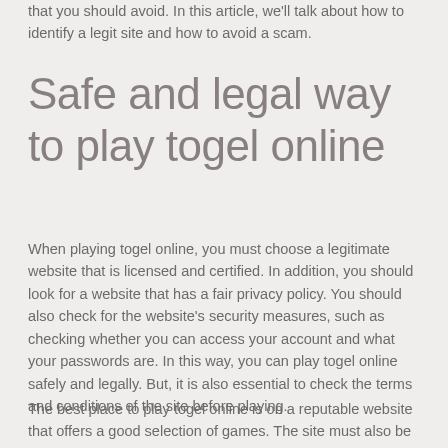that you should avoid. In this article, we'll talk about how to identify a legit site and how to avoid a scam.
Safe and legal way to play togel online
When playing togel online, you must choose a legitimate website that is licensed and certified. In addition, you should look for a website that has a fair privacy policy. You should also check for the website's security measures, such as checking whether you can access your account and what your passwords are. In this way, you can play togel online safely and legally. But, it is also essential to check the terms and conditions of the site before playing.
The best place to play togel online is on a reputable website that offers a good selection of games. The site must also be licensed and have sufficient customer